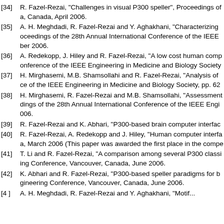[34] R. Fazel-Rezai, "Challenges in visual P300 speller", Proceedings of a, Canada, April 2006.
[35] A. H. Meghdadi, R. Fazel-Rezai and Y. Aghakhani, "Characterizing oceedings of the 28th Annual International Conference of the IEEE ber 2006.
[36] A. Redekopp, J. Hiley and R. Fazel-Rezai, "A low cost human comp onference of the IEEE Engineering in Medicine and Biology Society
[37] H. Mirghasemi, M.B. Shamsollahi and R. Fazel-Rezai, "Analysis of ce of the IEEE Engineering in Medicine and Biology Society, pp. 62
[38] H. Mirghasemi, R. Fazel-Rezai and M.B. Shamsollahi, "Assessment dings of the 28th Annual International Conference of the IEEE Engi 006.
[39] R. Fazel-Rezai and K. Abhari, "P300-based brain computer interfac
[40] R. Fazel-Rezai, A. Redekopp and J. Hiley, "Human computer interfa a, March 2006 (This paper was awarded the first place in the compe
[41] T. Li and R. Fazel-Rezai, "A comparison among several P300 classi ing Conference, Vancouver, Canada, June 2006.
[42] K. Abhari and R. Fazel-Rezai, "P300-based speller paradigms for b gineering Conference, Vancouver, Canada, June 2006.
[4 ] A. H. Meghdadi, R. Fazel-Rezai and Y. Aghakhani, "Motif...